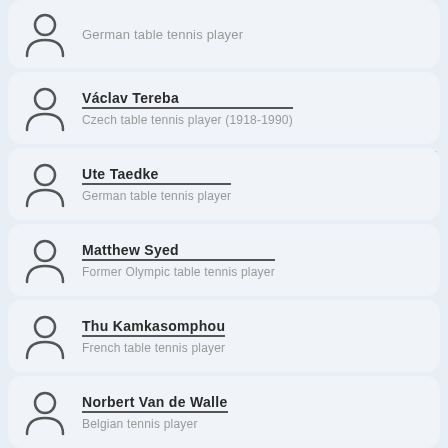German table tennis player
26 - Václav Tereba — Czech table tennis player (1918-1990)
27 - Ute Taedke — German table tennis player
28 - Matthew Syed — Former Olympic table tennis player
29 - Thu Kamkasomphou — French table tennis player
30 - Norbert Van de Walle — Belgian tennis player